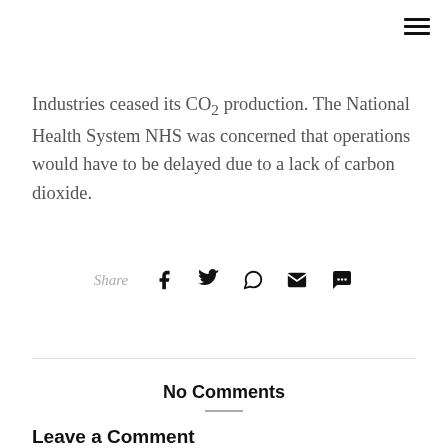Industries ceased its CO₂ production. The National Health System NHS was concerned that operations would have to be delayed due to a lack of carbon dioxide.
[Figure (infographic): Social share bar with Share label and icons for Facebook, Twitter, WhatsApp, Email, and Chat/SMS]
No Comments
Leave a Comment